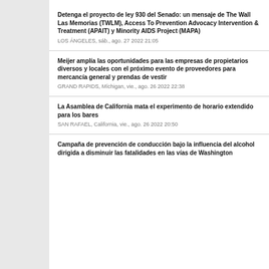Detenga el proyecto de ley 930 del Senado: un mensaje de The Wall Las Memorias (TWLM), Access To Prevention Advocacy Intervention & Treatment (APAIT) y Minority AIDS Project (MAPA)
LOS ÁNGELES, sáb., ago. 27 2022 21:05
Meijer amplía las oportunidades para las empresas de propietarios diversos y locales con el próximo evento de proveedores para mercancía general y prendas de vestir
GRAND RAPIDS, Míchigan, vie., ago. 26 2022 22:38
La Asamblea de California mata el experimento de horario extendido para los bares
SAN RAFAEL, California, vie., ago. 26 2022 20:50
Campaña de prevención de conducción bajo la influencia del alcohol dirigida a disminuir las fatalidades en las vías de Washington